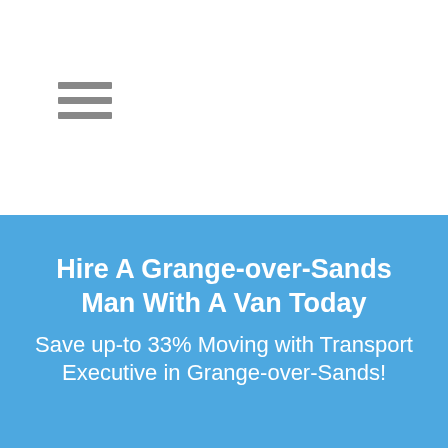[Figure (other): Hamburger menu icon with three horizontal gray bars]
Hire A Grange-over-Sands Man With A Van Today
Save up-to 33% Moving with Transport Executive in Grange-over-Sands!